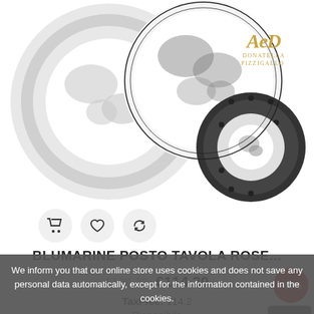[Figure (photo): Decorative dinnerware plates with floral pattern, shown from above. Multiple plates of different sizes stacked/arranged. Brand watermark 'AeD Donatella Pizzigallo' visible in upper right corner.]
BLUMARINE POSTO TAVOLA ROSE...
€190.33  €114.20
TaxFree: 114.2
Disponibile
We inform you that our online store uses cookies and does not save any personal data automatically, except for the information contained in the cookies.